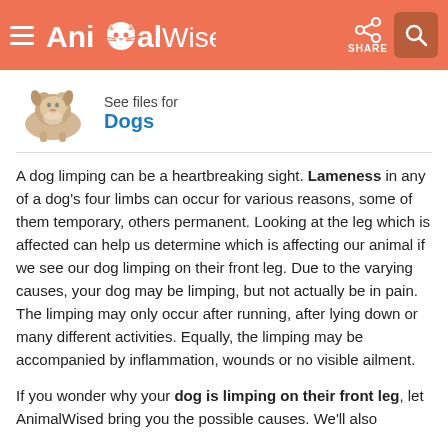AnimalWised — SHARE
See files for Dogs
A dog limping can be a heartbreaking sight. Lameness in any of a dog's four limbs can occur for various reasons, some of them temporary, others permanent. Looking at the leg which is affected can help us determine which is affecting our animal if we see our dog limping on their front leg. Due to the varying causes, your dog may be limping, but not actually be in pain. The limping may only occur after running, after lying down or many different activities. Equally, the limping may be accompanied by inflammation, wounds or no visible ailment.
If you wonder why your dog is limping on their front leg, let AnimalWised bring you the possible causes. We'll also